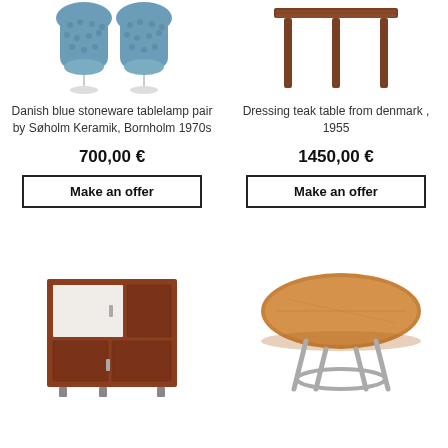[Figure (photo): Two Danish blue stoneware tablelamps by Søholm Keramik, Bornholm 1970s]
Danish blue stoneware tablelamp pair by Søholm Keramik, Bornholm 1970s
700,00 €
Make an offer
[Figure (photo): Dressing teak table from denmark, 1955]
Dressing teak table from denmark , 1955
1450,00 €
Make an offer
[Figure (photo): Mid-century teak cabinet with white door panel]
[Figure (photo): Round wooden table with chrome legs]